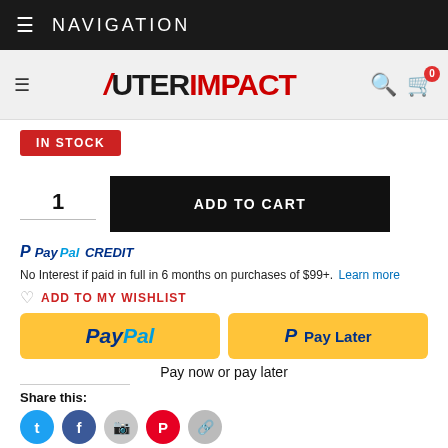NAVIGATION
[Figure (logo): OuterImpact logo with search and cart icons]
IN STOCK
1  ADD TO CART
PayPal CREDIT No Interest if paid in full in 6 months on purchases of $99+. Learn more
ADD TO MY WISHLIST
[Figure (other): PayPal and Pay Later yellow buttons]
Pay now or pay later
Share this:
[Figure (other): Social media share icons: Twitter, Facebook, Instagram, Pinterest, Share]